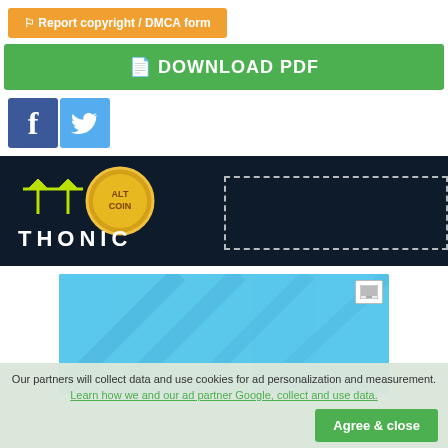⚑ Report copyright / DMCA form
📄 DOWNLOAD PDF
[Figure (other): Facebook and Twitter social share buttons]
[Figure (other): Thonic AltCoin banner advertisement with dark navy background, green arrow logo, gold coin, and dotted rectangle placeholder]
[Figure (other): Blue advertisement placeholder box with diagonal design elements and small icon in top right]
Our partners will collect data and use cookies for ad personalization and measurement. Learn how we and our ad partner Google, collect and use data.
Agree & close